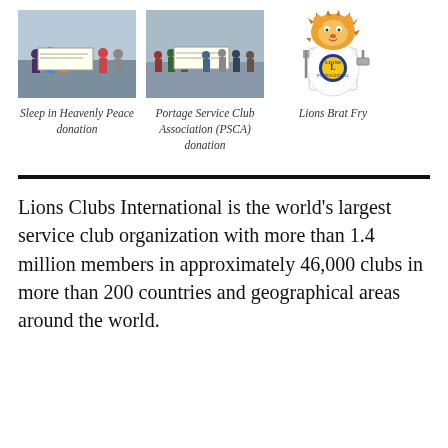[Figure (photo): Group of people holding a large check for Sleep in Heavenly Peace donation]
Sleep in Heavenly Peace donation
[Figure (photo): Group of people holding a large check for Portage Service Club Association (PSCA) donation]
Portage Service Club Association (PSCA) donation
[Figure (illustration): Lions Club cartoon lion mascot holding a fork and spatula, wearing an apron with Lions Club logo]
Lions Brat Fry
Lions Clubs International is the world’s largest service club organization with more than 1.4 million members in approximately 46,000 clubs in more than 200 countries and geographical areas around the world.